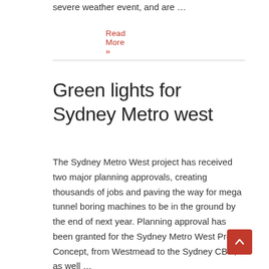severe weather event, and are …
Read More »
Green lights for Sydney Metro west
The Sydney Metro West project has received two major planning approvals, creating thousands of jobs and paving the way for mega tunnel boring machines to be in the ground by the end of next year. Planning approval has been granted for the Sydney Metro West Project Concept, from Westmead to the Sydney CBD, as well …
Read More »